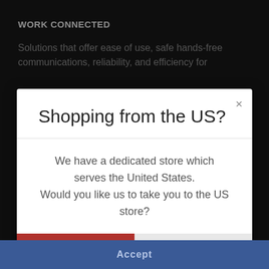WORK CONNECTED
Solutions that offer ease of use, safe hands-free communications, reliability, and efficiency for
Shopping from the US?
We have a dedicated store which serves the United States. Would you like us to take you to the US store?
Yes
No
Accept